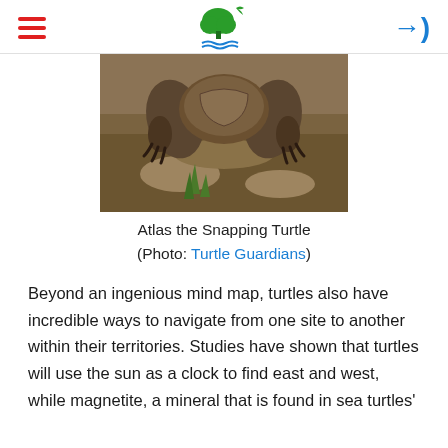SSJL organization header with hamburger menu, logo, and login arrow
[Figure (photo): Close-up photograph of Atlas the Snapping Turtle feet/claws on muddy ground]
Atlas the Snapping Turtle
(Photo: Turtle Guardians)
Beyond an ingenious mind map, turtles also have incredible ways to navigate from one site to another within their territories. Studies have shown that turtles will use the sun as a clock to find east and west, while magnetite, a mineral that is found in sea turtles'